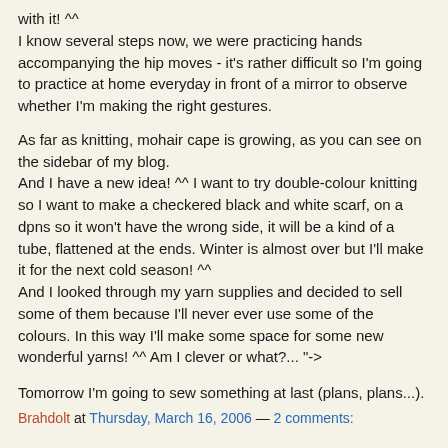with it! ^^
I know several steps now, we were practicing hands accompanying the hip moves - it's rather difficult so I'm going to practice at home everyday in front of a mirror to observe whether I'm making the right gestures.
As far as knitting, mohair cape is growing, as you can see on the sidebar of my blog.
And I have a new idea! ^^ I want to try double-colour knitting so I want to make a checkered black and white scarf, on a dpns so it won't have the wrong side, it will be a kind of a tube, flattened at the ends. Winter is almost over but I'll make it for the next cold season! ^^
And I looked through my yarn supplies and decided to sell some of them because I'll never ever use some of the colours. In this way I'll make some space for some new wonderful yarns! ^^ Am I clever or what?... "->
Tomorrow I'm going to sew something at last (plans, plans...).
Brahdolt at Thursday, March 16, 2006 — 2 comments: